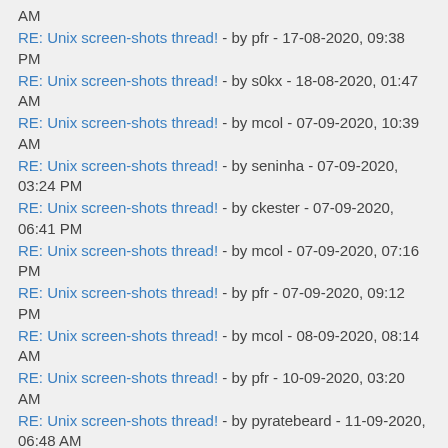RE: Unix screen-shots thread! - by pfr - 17-08-2020, 09:38 PM
RE: Unix screen-shots thread! - by s0kx - 18-08-2020, 01:47 AM
RE: Unix screen-shots thread! - by mcol - 07-09-2020, 10:39 AM
RE: Unix screen-shots thread! - by seninha - 07-09-2020, 03:24 PM
RE: Unix screen-shots thread! - by ckester - 07-09-2020, 06:41 PM
RE: Unix screen-shots thread! - by mcol - 07-09-2020, 07:16 PM
RE: Unix screen-shots thread! - by pfr - 07-09-2020, 09:12 PM
RE: Unix screen-shots thread! - by mcol - 08-09-2020, 08:14 AM
RE: Unix screen-shots thread! - by pfr - 10-09-2020, 03:20 AM
RE: Unix screen-shots thread! - by pyratebeard - 11-09-2020, 06:48 AM
RE: Unix screen-shots thread! - by evbo - 16-09-2020, 05:06 PM
RE: Unix screen-shots thread! - by movq - 17-09-2020, 09:42